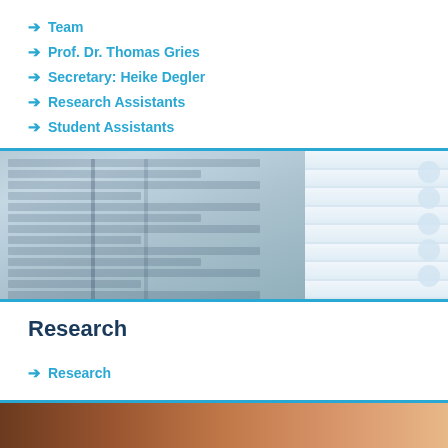→ Team
→ Prof. Dr. Thomas Gries
→ Secretary: Heike Degler
→ Research Assistants
→ Student Assistants
[Figure (photo): Blurred photo of a computer monitor displaying a spreadsheet, with window blinds visible on the right side]
Research
→ Research
[Figure (photo): Partial photo at bottom of page, showing what appears to be a person's hands or skin tones with warm brown colors]